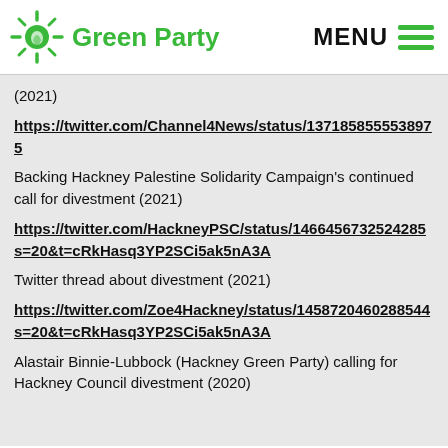Green Party | MENU
(2021)
https://twitter.com/Channel4News/status/137185855538975…
Backing Hackney Palestine Solidarity Campaign's continued call for divestment (2021)
https://twitter.com/HackneyPSC/status/146645673252428… s=20&t=cRkHasq3YP2SCi5ak5nA3A
Twitter thread about divestment (2021)
https://twitter.com/Zoe4Hackney/status/14587204602885… s=20&t=cRkHasq3YP2SCi5ak5nA3A
Alastair Binnie-Lubbock (Hackney Green Party) calling for Hackney Council divestment (2020)